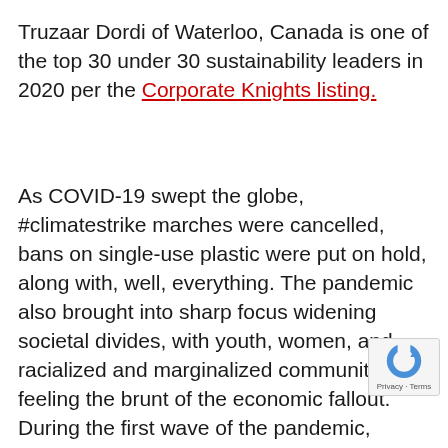Truzaar Dordi of Waterloo, Canada is one of the top 30 under 30 sustainability leaders in 2020 per the Corporate Knights listing.
As COVID-19 swept the globe, #climatestrike marches were cancelled, bans on single-use plastic were put on hold, along with, well, everything. The pandemic also brought into sharp focus widening societal divides, with youth, women, and racialized and marginalized communities feeling the brunt of the economic fallout. During the first wave of the pandemic, nearly one in four Canadians under the age of 30 were NEET – not in employment, education or training – according to Statistics Canada. Polling from TD Bank shows that BIPOC (Black, Indigenous and people of colour) youth were hardest h
You do not all share the same...